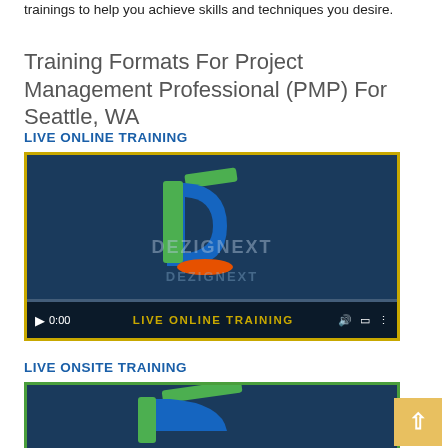trainings to help you achieve skills and techniques you desire.
Training Formats For Project Management Professional (PMP) For Seattle, WA
LIVE ONLINE TRAINING
[Figure (screenshot): Video thumbnail showing the Dezignext logo on a dark blue background with 'LIVE ONLINE TRAINING' text overlay, video controls at bottom showing 0:00 timestamp, bordered with gold/yellow frame]
LIVE ONSITE TRAINING
[Figure (screenshot): Partial video thumbnail showing the Dezignext logo on a dark blue background, bordered with green frame, partially visible]